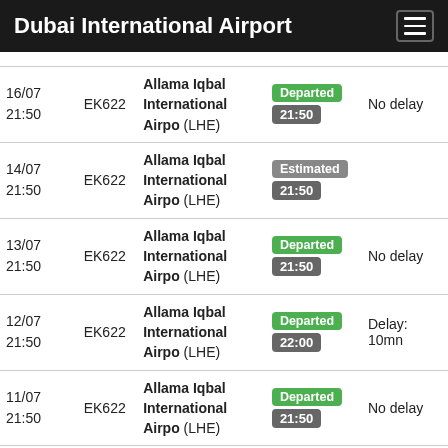Dubai International Airport
| Date | Flight | Destination | Status | Delay |
| --- | --- | --- | --- | --- |
| 16/07 21:50 | EK622 | Allama Iqbal International Airpo (LHE) | Departed 21:50 | No delay |
| 14/07 21:50 | EK622 | Allama Iqbal International Airpo (LHE) | Estimated 21:50 |  |
| 13/07 21:50 | EK622 | Allama Iqbal International Airpo (LHE) | Departed 21:50 | No delay |
| 12/07 21:50 | EK622 | Allama Iqbal International Airpo (LHE) | Departed 22:00 | Delay: 10mn |
| 11/07 21:50 | EK622 | Allama Iqbal International Airpo (LHE) | Departed 21:50 | No delay |
| 10/07 21:50 | EK622 | Allama Iqbal International Airpo (LHE) | Departed 22:00 | Delay: 10mn |
| 09/07 | EK622 | Allama Iqbal International Airpo (LHE) | Departed |  |